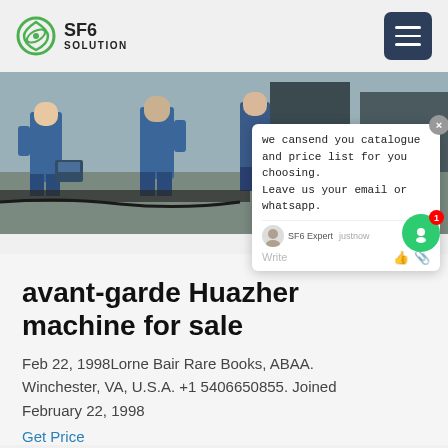SF6 SOLUTION
[Figure (photo): Workers in blue coveralls/jumpsuits standing outdoors near industrial equipment and cylinders on the ground]
we cansend you catalogue and price list for you choosing. Leave us your email or whatsapp.
avant-garde Huazhen machine for sale
Feb 22, 1998Lorne Bair Rare Books, ABAA. Winchester, VA, U.S.A. +1 5406650855. Joined February 22, 1998
Get Price